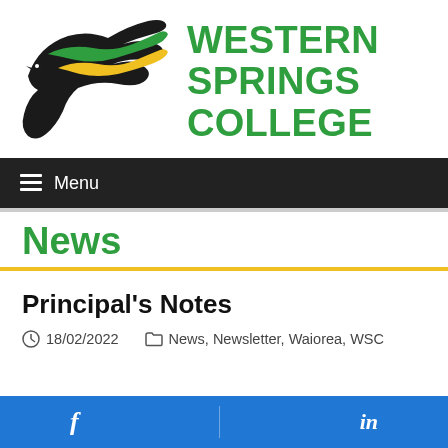[Figure (logo): Western Springs College bird logo in black, green, and yellow]
WESTERN SPRINGS COLLEGE
Menu
News
Principal's Notes
18/02/2022   News, Newsletter, Waiorea, WSC